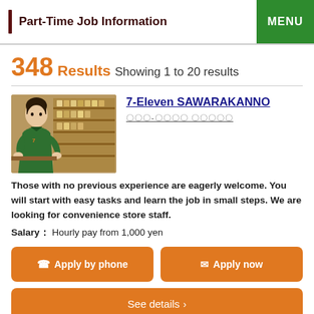Part-Time Job Information  MENU
348 Results Showing 1 to 20 results
7-Eleven SAWARAKANNO
〇〇〇-〇〇〇〇 〇〇〇〇〇
[Figure (photo): Photo of a male worker in a green uniform at a convenience store]
Those with no previous experience are eagerly welcome. You will start with easy tasks and learn the job in small steps. We are looking for convenience store staff.
Salary：Hourly pay from 1,000 yen
Apply by phone
Apply now
See details ›